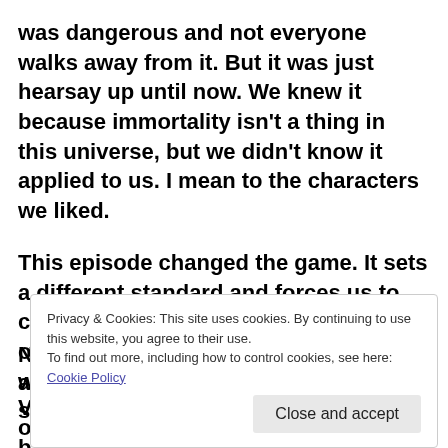was dangerous and not everyone walks away from it. But it was just hearsay up until now. We knew it because immortality isn't a thing in this universe, but we didn't know it applied to us. I mean to the characters we liked.
This episode changed the game. It sets a different standard and forces us to consider things differently from now on. My Hero Academia just grew up a whole lot on the back of Nighteye's sacrifice.
Privacy & Cookies: This site uses cookies. By continuing to use this website, you agree to their use.
To find out more, including how to control cookies, see here: Cookie Policy